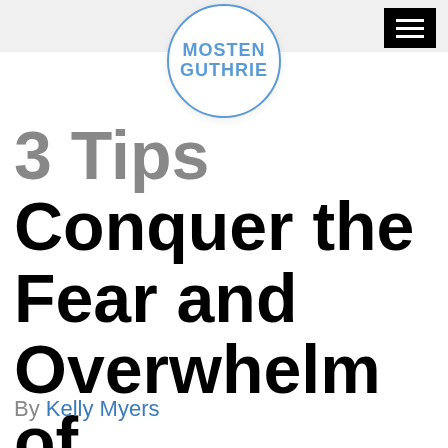[Figure (logo): Mosten Guthrie logo — circular badge with blue text reading MOSTEN GUTHRIE]
3 Tips to Conquer the Fear and Overwhelm of Divorce
By Kelly Myers